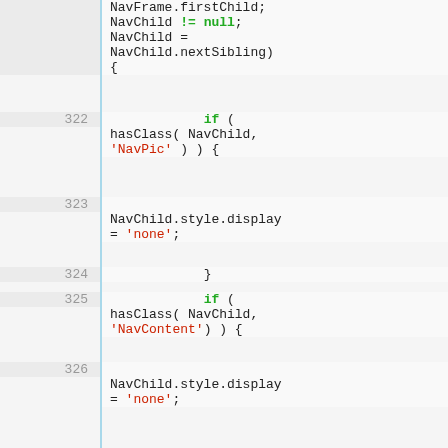[Figure (screenshot): Code editor screenshot showing JavaScript source code lines 322-330. Lines feature syntax highlighting: keywords in green (if), string literals in red ('NavPic', 'none', 'NavContent'). Code shows a loop body checking hasClass for NavPic and NavContent, setting style.display to none, then setting NavToggle.firstChild.data to NavigationBarShow.]